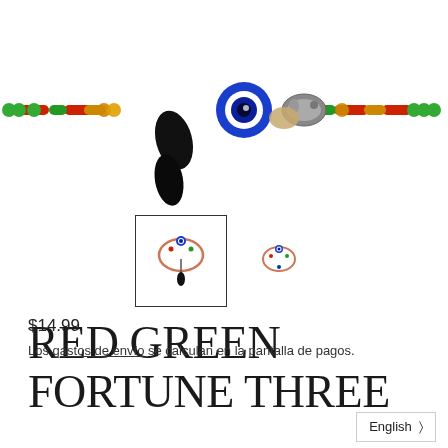[Figure (photo): Close-up photo of a colorful beaded bracelet with evil eye charm, black stone, and decorative elephant bead on a white background]
[Figure (photo): Two small thumbnail images of the bracelet product]
RED GREEN FORTUNE THREE
$14.99
Los gastos de envío se calculan en la pantalla de pagos.
English >